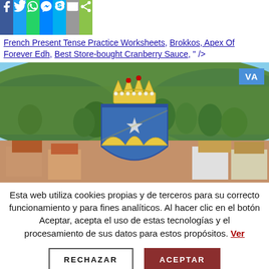[Figure (other): Social sharing bar with Facebook, Twitter, WhatsApp, Messenger, Skype, Email, and Share icons]
French Present Tense Practice Worksheets, Brokkos, Apex Of Forever Edh, Best Store-bought Cranberry Sauce, " />
[Figure (photo): Hero photo of a Spanish village with terracotta rooftops, green hillside terraces, and a coat of arms (blue shield with yellow mountains and star, topped by a golden crown) overlaid in the center. VA badge in top-right corner.]
Esta web utiliza cookies propias y de terceros para su correcto funcionamiento y para fines analíticos. Al hacer clic en el botón Aceptar, acepta el uso de estas tecnologías y el procesamiento de sus datos para estos propósitos. Ver
RECHAZAR
ACEPTAR